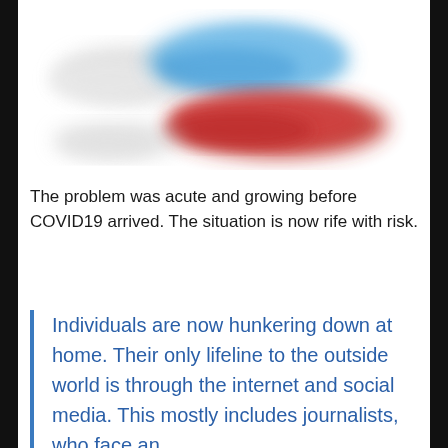[Figure (photo): Blurred/defocused image of pills or capsules in red, blue, and white colors on a white background]
The problem was acute and growing before COVID19 arrived. The situation is now rife with risk.
Individuals are now hunkering down at home. Their only lifeline to the outside world is through the internet and social media. This mostly includes journalists, who face an